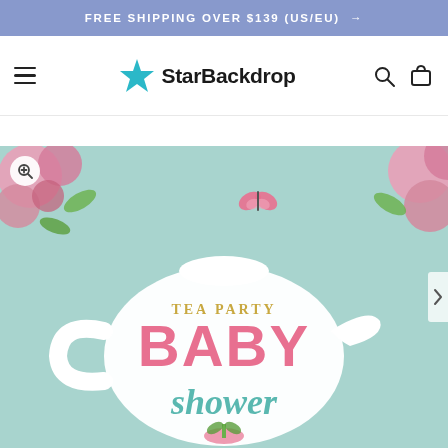FREE SHIPPING OVER $139 (US/EU) →
[Figure (logo): StarBackdrop logo with teal star icon and bold text 'StarBackdrop']
[Figure (photo): Tea Party Baby Shower backdrop product image — mint green background with white teapot, pink flowers, butterfly, text reading 'TEA PARTY BABY shower']